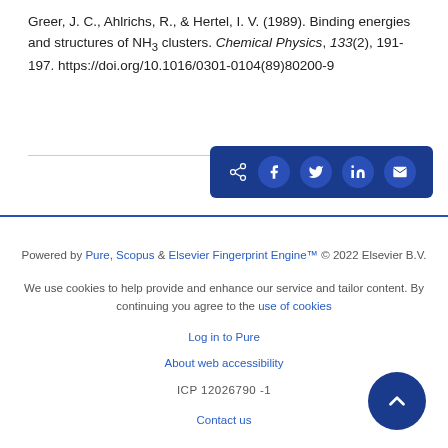Greer, J. C., Ahlrichs, R., & Hertel, I. V. (1989). Binding energies and structures of NH₃ clusters. Chemical Physics, 133(2), 191-197. https://doi.org/10.1016/0301-0104(89)80200-9
[Figure (other): Share button bar with icons for share/Facebook/Twitter/LinkedIn/email on dark blue background]
Powered by Pure, Scopus & Elsevier Fingerprint Engine™ © 2022 Elsevier B.V.
We use cookies to help provide and enhance our service and tailor content. By continuing you agree to the use of cookies
Log in to Pure
About web accessibility
ICP 12026790 -1
Contact us